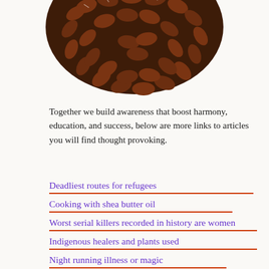[Figure (photo): Close-up photograph of coffee beans arranged in an oval/eye shape on a white background, viewed from above, with the bottom half of the oval visible.]
Together we build awareness that boost harmony, education, and success, below are more links to articles you will find thought provoking.
Deadliest routes for refugees
Cooking with shea butter oil
Worst serial killers recorded in history are women
Indigenous healers and plants used
Night running illness or magic
What is back to Africa